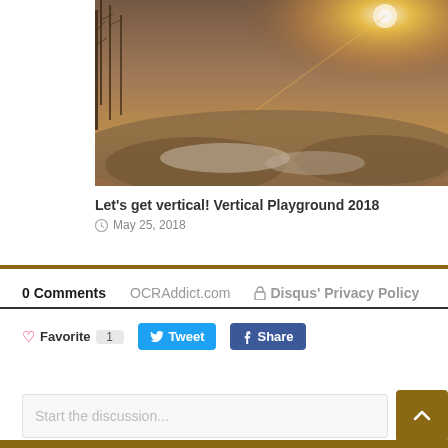[Figure (photo): Outdoor sunset landscape photo showing trees silhouetted against a hazy sky with sun glare, rocky terrain below]
Let's get vertical! Vertical Playground 2018
May 25, 2018
0 Comments   OCRAddict.com   🔒 Disqus' Privacy Policy
♡ Favorite 1   Tweet   Share
Start the discussion...